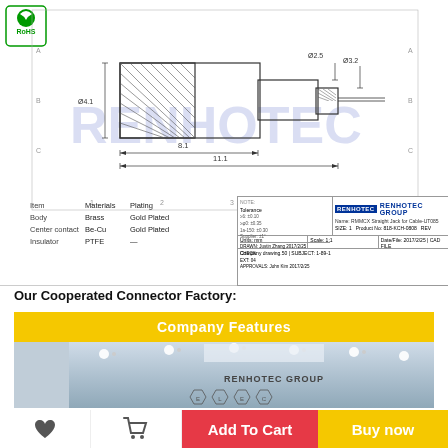[Figure (engineering-diagram): Technical drawing of RMMCX Straight Jack for Cable-UT085 connector showing cross-section with dimensions: Ø4.1, Ø2.5, Ø3.2, 8.1mm and 11.1mm overall length with knurled grip section and center pin. Title block shows Renhotec Group branding, product number 818-KCH-0808, material specs (Body: Brass Gold Plated, Center contact: Be-Cu Gold Plated, Insulator: PTFE). RoHS compliant logo top left. RENMOTEC watermark overlay.]
Our Cooperated Connector Factory:
[Figure (photo): Interior photo of Renhotec Group factory/office showroom with ceiling spotlights, RENHOTEC GROUP logo and hexagonal ELEC branding visible]
Company Features